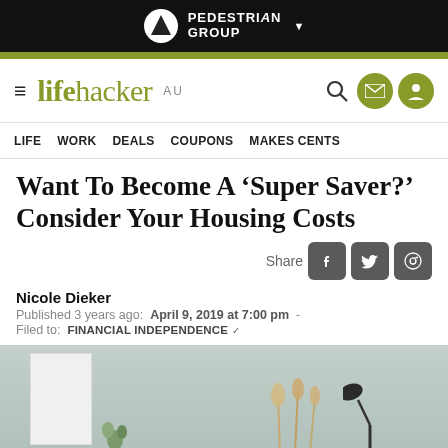PEDESTRIAN GROUP
[Figure (logo): Lifehacker AU logo with hamburger menu, search, email and profile icons]
LIFE  WORK  DEALS  COUPONS  MAKES CENTS
Want To Become A ‘Super Saver?’ Consider Your Housing Costs
Share
Nicole Dieker
Published 3 years ago:  April 9, 2019 at 7:00 pm  -
Filed to:  FINANCIAL INDEPENDENCE
[Figure (photo): Interior room photo showing a white wall, plants, and a desk lamp on a light grey/sage background]